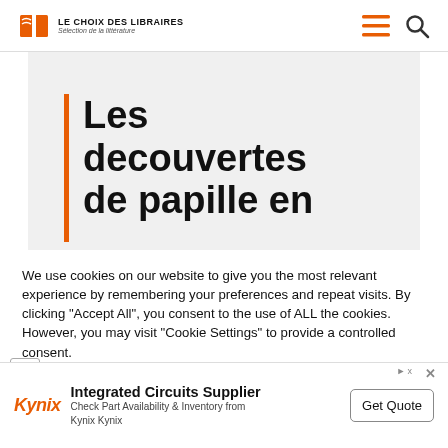LE CHOIX DES LIBRAIRES — Sélection de la littérature
[Figure (screenshot): Hero banner with orange vertical bar and large bold French text: Les decouvertes de papille en]
We use cookies on our website to give you the most relevant experience by remembering your preferences and repeat visits. By clicking "Accept All", you consent to the use of ALL the cookies. However, you may visit "Cookie Settings" to provide a controlled consent.
[Figure (other): Advertisement banner: Kynix logo with text 'Integrated Circuits Supplier', 'Check Part Availability & Inventory from Kynix Kynix', and a 'Get Quote' button]